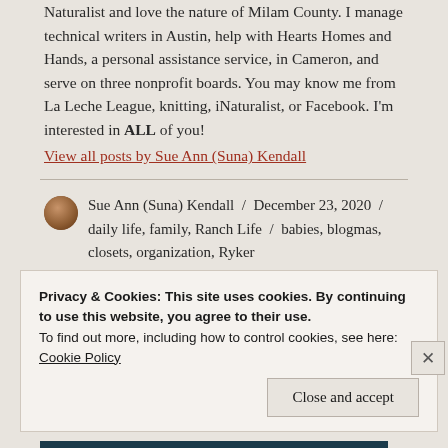Naturalist and love the nature of Milam County. I manage technical writers in Austin, help with Hearts Homes and Hands, a personal assistance service, in Cameron, and serve on three nonprofit boards. You may know me from La Leche League, knitting, iNaturalist, or Facebook. I'm interested in ALL of you!
View all posts by Sue Ann (Suna) Kendall
Sue Ann (Suna) Kendall / December 23, 2020 / daily life, family, Ranch Life / babies, blogmas, closets, organization, Ryker
Privacy & Cookies: This site uses cookies. By continuing to use this website, you agree to their use.
To find out more, including how to control cookies, see here:
Cookie Policy
Close and accept